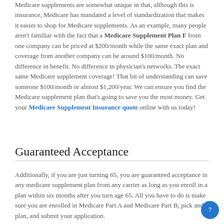Medicare supplements are somewhat unique in that, although this is insurance, Medicare has mandated a level of standardization that makes it easier to shop for Medicare supplements. As an example, many people aren't familiar with the fact that a Medicare Supplement Plan F from one company can be priced at $200/month while the same exact plan and coverage from another company can be around $100/month. No difference in benefit. No difference in physician's networks. The exact same Medicare supplement coverage! That bit of understanding can save someone $100/month or almost $1,200/year. We can ensure you find the Medicare supplement plan that's going to save you the most money. Get your Medicare Supplement Insurance quote online with us today!
Guaranteed Acceptance
Additionally, if you are just turning 65, you are guaranteed acceptance in any medicare supplement plan from any carrier as long as you enroll in a plan within six months after you turn age 65. All you have to do is make sure you are enrolled in Medicare Part A and Medicare Part B, pick and plan, and submit your application.